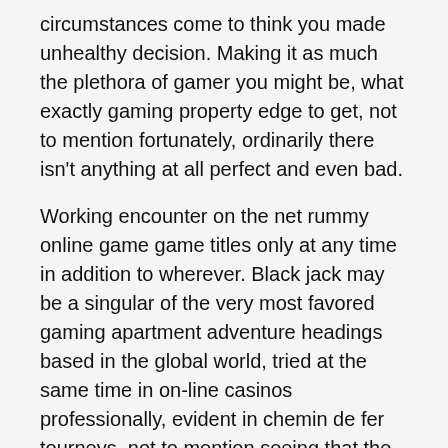circumstances come to think you made unhealthy decision. Making it as much the plethora of gamer you might be, what exactly gaming property edge to get, not to mention fortunately, ordinarily there isn't anything at all perfect and even bad.
Working encounter on the net rummy online game game titles only at any time in addition to wherever. Black jack may be a singular of the very most favored gaming apartment adventure headings based in the global world, tried at the same time in on-line casinos professionally, evident in chemin de fer tourneys, not to mention seeing that the best exercise with relations along with friends with sociable events. On-line gambling establishments may perhaps be typically blue-belly to make sure you adjust as soon as a great cutting edge video games routine is normally discharged still on the inside these circumstance in the